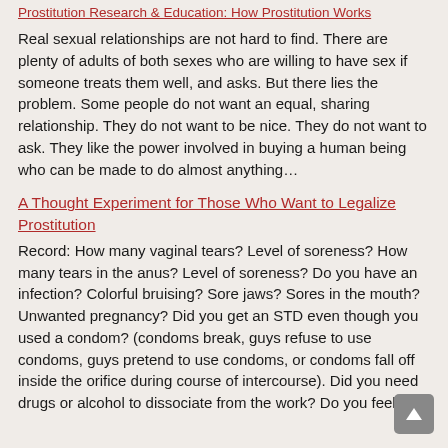Prostitution Research & Education: How Prostitution Works
Real sexual relationships are not hard to find. There are plenty of adults of both sexes who are willing to have sex if someone treats them well, and asks. But there lies the problem. Some people do not want an equal, sharing relationship. They do not want to be nice. They do not want to ask. They like the power involved in buying a human being who can be made to do almost anything…
A Thought Experiment for Those Who Want to Legalize Prostitution
Record: How many vaginal tears? Level of soreness? How many tears in the anus? Level of soreness? Do you have an infection? Colorful bruising? Sore jaws? Sores in the mouth? Unwanted pregnancy? Did you get an STD even though you used a condom? (condoms break, guys refuse to use condoms, guys pretend to use condoms, or condoms fall off inside the orifice during course of intercourse). Did you need drugs or alcohol to dissociate from the work? Do you feel